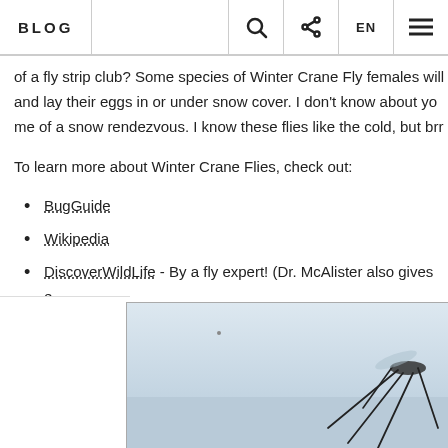BLOG
of a fly strip club? Some species of Winter Crane Fly females will and lay their eggs in or under snow cover. I don't know about yo me of a snow rendezvous. I know these flies like the cold, but brr
To learn more about Winter Crane Flies, check out:
BugGuide
Wikipedia
DiscoverWildLife - By a fly expert! (Dr. McAlister also gives e speak)
[Figure (photo): Photograph of a Winter Crane Fly, likely on a snowy or light blue background, with dark legs visible in the lower right portion of the image.]